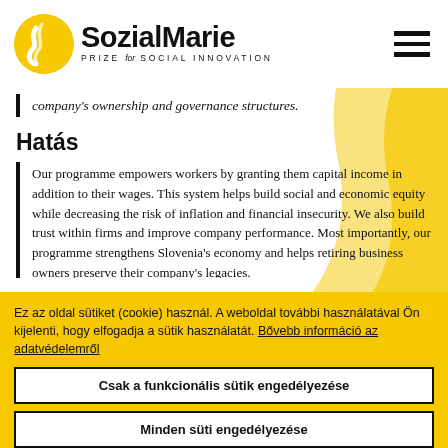SozialMarie – Prize for Social Innovation
company's ownership and governance structures.
Hatás
Our programme empowers workers by granting them capital income in addition to their wages. This system helps build social and economic equity while decreasing the risk of inflation and financial insecurity. We also build trust within firms and improve company performance. Most importantly, our programme strengthens Slovenia's economy and helps retiring business owners preserve their company's legacies.
Átemelhetőség
One of the core strengths of the programme is its near-universal
Ez az oldal sütiket (cookie) használ. A weboldal további használatával Ön kijelenti, hogy elfogadja a sütik használatát. Bővebb információ az adatvédelemről
Csak a funkcionális sütik engedélyezése
Minden süti engedélyezése